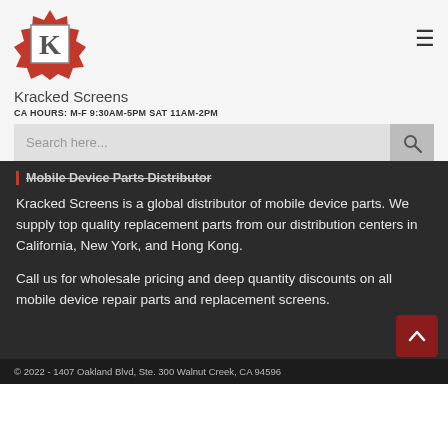[Figure (logo): Kracked Screens logo — red starburst badge with letter K]
Kracked Screens
CA HOURS: M-F 9:30AM-5PM SAT 11AM-2PM
Mobile Device Parts Distributor
Kracked Screens is a global distributor of mobile device parts. We supply top quality replacement parts from our distribution centers in California, New York, and Hong Kong.
Call us for wholesale pricing and deep quantity discounts on all mobile device repair parts and replacement screens.
© 2022 - 1407 Oakland Blvd, Ste. 300 Walnut Creek, CA 94596